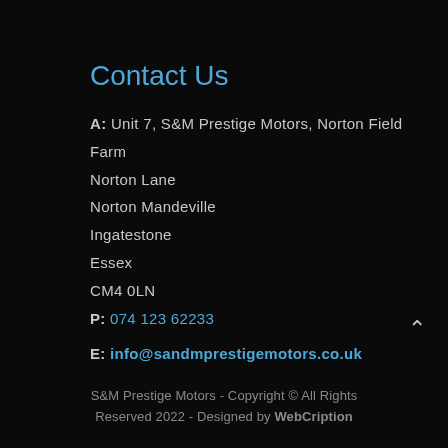Contact Us
A: Unit 7, S&M Prestige Motors, Norton Field Farm
Norton Lane
Norton Mandeville
Ingatestone
Essex
CM4 0LN
P: 074 123 62233
E: info@sandmprestigemotors.co.uk
S&M Prestige Motors - Copyright © All Rights Reserved 2022 - Designed by WebCription